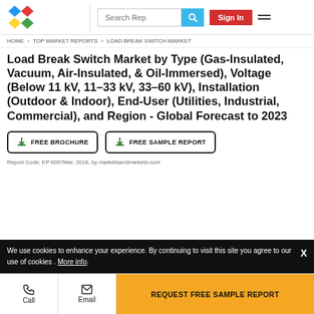[Figure (logo): MarketsandMarkets colorful diamond logo]
Search Rep | Sign In
HOME › TOP MARKET REPORTS › LOAD BREAK SWITCH MARKET
Load Break Switch Market by Type (Gas-Insulated, Vacuum, Air-Insulated, & Oil-Immersed), Voltage (Below 11 kV, 11–33 kV, 33–60 kV), Installation (Outdoor & Indoor), End-User (Utilities, Industrial, Commercial), and Region - Global Forecast to 2023
FREE BROCHURE   FREE SAMPLE REPORT
Report Code: EP 6057Mar, 2018, by marketsandmarkets.com
We use cookies to enhance your experience. By continuing to visit this site you agree to our use of cookies . More info.
Call   Email   REQUEST FREE SAMPLE REPORT